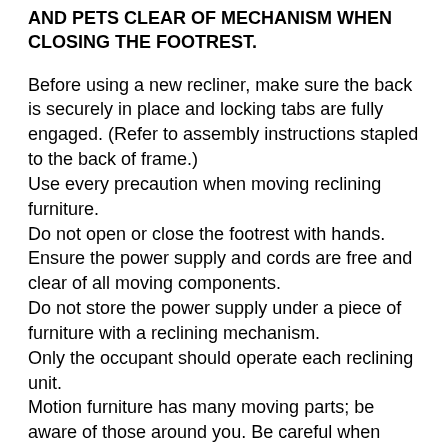AND PETS CLEAR OF MECHANISM WHEN CLOSING THE FOOTREST.
Before using a new recliner, make sure the back is securely in place and locking tabs are fully engaged. (Refer to assembly instructions stapled to the back of frame.)
Use every precaution when moving reclining furniture.
Do not open or close the footrest with hands.
Ensure the power supply and cords are free and clear of all moving components.
Do not store the power supply under a piece of furniture with a reclining mechanism.
Only the occupant should operate each reclining unit.
Motion furniture has many moving parts; be aware of those around you. Be careful when operating.
New Line Furniture Warranty Policy
The following Limited Warranties are given to the original purchaser of United Furniture Industries, Inc. products. These warranties do not apply to any merchandise purchased